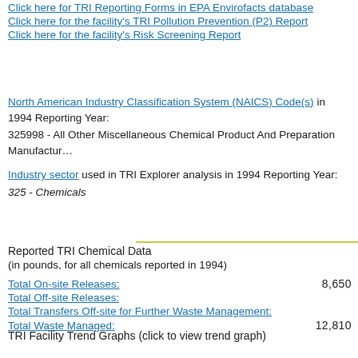Click here for TRI Reporting Forms in EPA Envirofacts database
Click here for the facility's TRI Pollution Prevention (P2) Report
Click here for the facility's Risk Screening Report
North American Industry Classification System (NAICS) Code(s) in 1994 Reporting Year: 325998 - All Other Miscellaneous Chemical Product And Preparation Manufacturing
Industry sector used in TRI Explorer analysis in 1994 Reporting Year: 325 - Chemicals
Reported TRI Chemical Data (in pounds, for all chemicals reported in 1994)
Total On-site Releases: 8,650
Total Off-site Releases:
Total Transfers Off-site for Further Waste Management:
Total Waste Managed: 12,810
TRI Facility Trend Graphs (click to view trend graph)